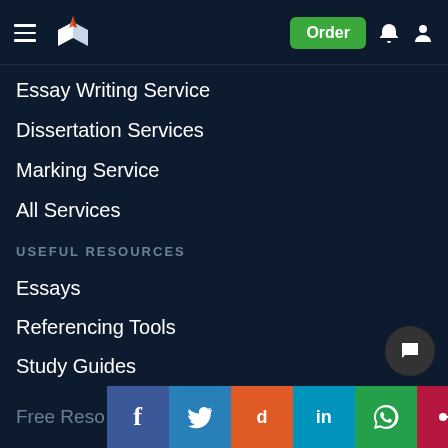Navigation header with hamburger menu, logo, Order button, bell icon, user icon
Essay Writing Service
Dissertation Services
Marking Service
All Services
USEFUL RESOURCES
Essays
Referencing Tools
Study Guides
Free Resources